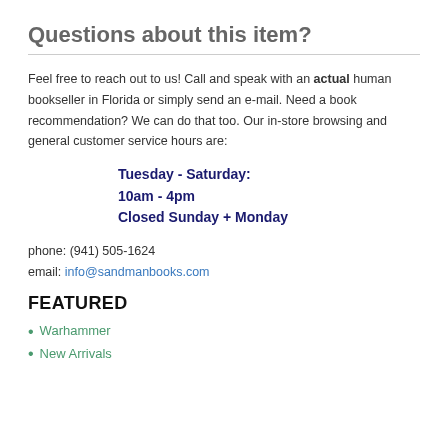Questions about this item?
Feel free to reach out to us! Call and speak with an actual human bookseller in Florida or simply send an e-mail. Need a book recommendation? We can do that too. Our in-store browsing and general customer service hours are:
Tuesday - Saturday:
10am - 4pm
Closed Sunday + Monday
phone: (941) 505-1624
email: info@sandmanbooks.com
FEATURED
Warhammer
New Arrivals